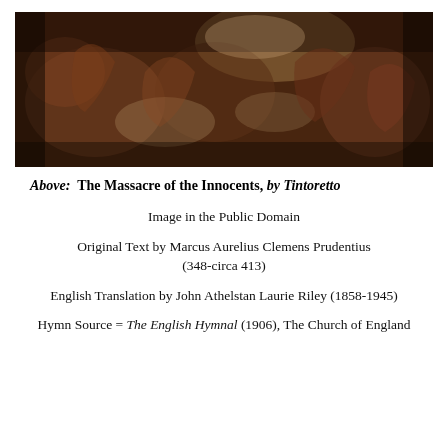[Figure (illustration): A dark Renaissance painting depicting the Massacre of the Innocents by Tintoretto, showing chaotic scene with multiple figures in dramatic poses.]
Above:  The Massacre of the Innocents, by Tintoretto
Image in the Public Domain
Original Text by Marcus Aurelius Clemens Prudentius (348-circa 413)
English Translation by John Athelstan Laurie Riley (1858-1945)
Hymn Source = The English Hymnal (1906), The Church of England